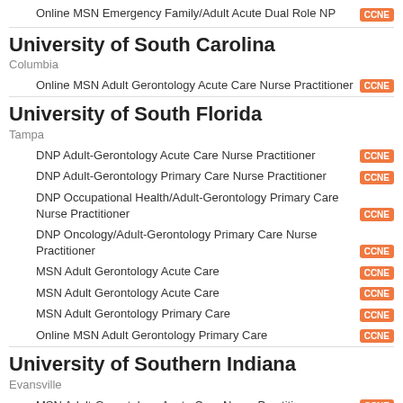Online MSN Emergency Family/Adult Acute Dual Role NP [CCNE]
University of South Carolina
Columbia
Online MSN Adult Gerontology Acute Care Nurse Practitioner [CCNE]
University of South Florida
Tampa
DNP Adult-Gerontology Acute Care Nurse Practitioner [CCNE]
DNP Adult-Gerontology Primary Care Nurse Practitioner [CCNE]
DNP Occupational Health/Adult-Gerontology Primary Care Nurse Practitioner [CCNE]
DNP Oncology/Adult-Gerontology Primary Care Nurse Practitioner [CCNE]
MSN Adult Gerontology Acute Care [CCNE]
MSN Adult Gerontology Acute Care [CCNE]
MSN Adult Gerontology Primary Care [CCNE]
Online MSN Adult Gerontology Primary Care [CCNE]
University of Southern Indiana
Evansville
MSN Adult-Gerontology Acute Care Nurse Practitioner [CCNE]